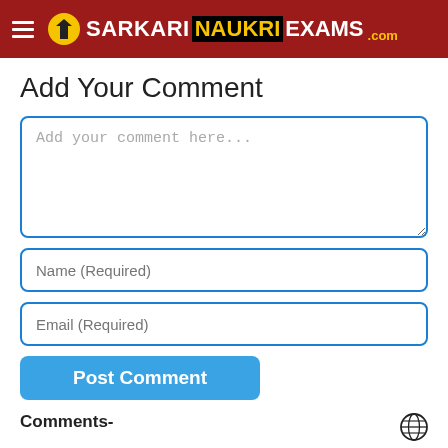SARKARI NAUKRI EXAMS .com
Add Your Comment
Add your comment here...
Name (Required)
Email (Required)
Post Comment
Comments-
Sarkari Naukri Exams-